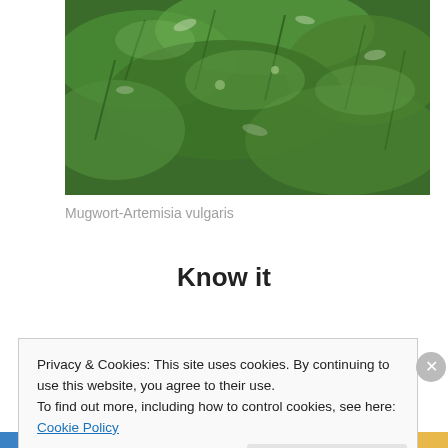[Figure (photo): Close-up photograph of Mugwort (Artemisia vulgaris) plant showing green feathery leaves with silvery-white undersides]
Mugwort-Artemisia vulgaris
Know it
http://botanical.com/botanical/mgmh/m/mugwor61.html
Privacy & Cookies: This site uses cookies. By continuing to use this website, you agree to their use.
To find out more, including how to control cookies, see here: Cookie Policy
Close and accept